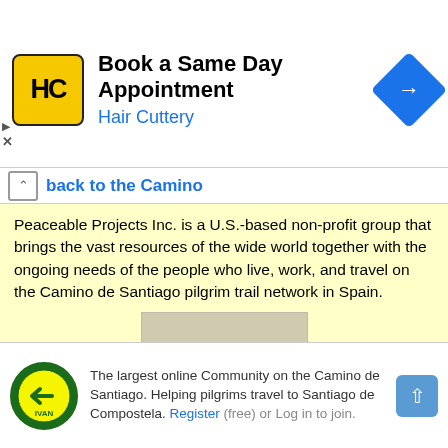[Figure (screenshot): Hair Cuttery ad banner: yellow HC logo, 'Book a Same Day Appointment' title, 'Hair Cuttery' subtitle in blue, blue diamond navigation icon on right]
Back to the Camino
Peaceable Projects Inc. is a U.S.-based non-profit group that brings the vast resources of the wide world together with the ongoing needs of the people who live, work, and travel on the Camino de Santiago pilgrim trail network in Spain.
[Figure (photo): Photo of a bronze scallop shell Camino way marker]
Camino Way Markers
Original Camino Way markers made in bronze. Two models, one from Castilla & Leon and the other from Galicia.
The largest online Community on the Camino de Santiago. Helping pilgrims travel to Santiago de Compostela. Register (free) or Log in to join.